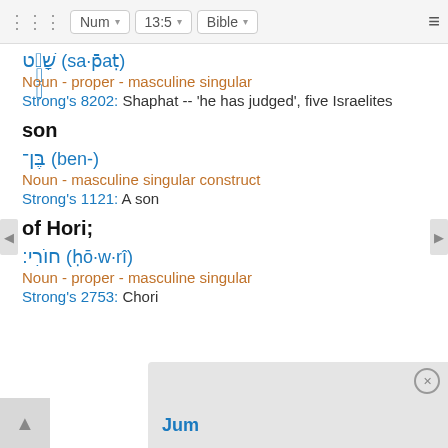Num  13:5  Bible
שָׁפָט (sa·p̄aṭ)
Noun - proper - masculine singular
Strong's 8202: Shaphat -- 'he has judged', five Israelites
son
בֶּן־ (ben-)
Noun - masculine singular construct
Strong's 1121: A son
of Hori;
חוֹרִי׃ (ḥō·w·rî)
Noun - proper - masculine singular
Strong's 2753: Chori
Jum